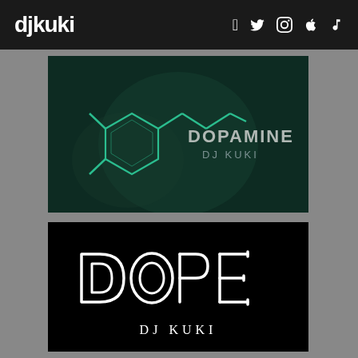djkuki — social icons: Facebook, Twitter, Instagram, Apple, Music
[Figure (illustration): Album cover for 'Dopamine' by DJ Kuki. Dark teal/green background with a molecular structure diagram drawn in teal/cyan lines. Text reads 'DOPAMINE' and 'DJ KUKI' in grey/white.]
[Figure (illustration): Album cover for 'Dope' by DJ Kuki. Black background with the word 'DOPE' in large neon-white outlined letters with a geometric/tubular style. Text 'DJ KUKI' appears below in white serif-style lettering.]